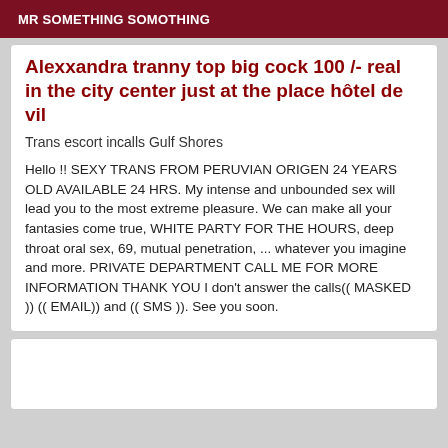MR SOMETHING SOMOTHING
Alexxandra tranny top big cock 100 /- real in the city center just at the place hôtel de vil
Trans escort incalls Gulf Shores
Hello !! SEXY TRANS FROM PERUVIAN ORIGEN 24 YEARS OLD AVAILABLE 24 HRS. My intense and unbounded sex will lead you to the most extreme pleasure. We can make all your fantasies come true, WHITE PARTY FOR THE HOURS, deep throat oral sex, 69, mutual penetration, ... whatever you imagine and more. PRIVATE DEPARTMENT CALL ME FOR MORE INFORMATION THANK YOU I don't answer the calls(( MASKED )) (( EMAIL)) and (( SMS )). See you soon.